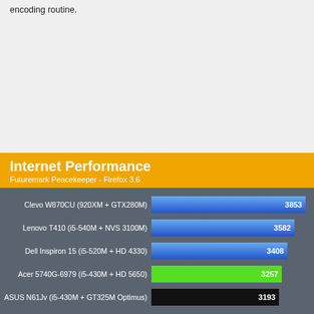encoding routine.
[Figure (bar-chart): Internet Performance]